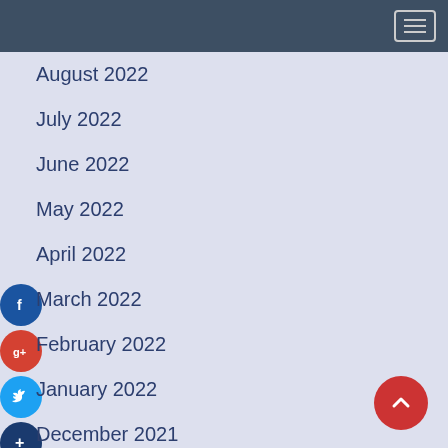Navigation header bar with menu toggle button
August 2022
July 2022
June 2022
May 2022
April 2022
March 2022
February 2022
January 2022
December 2021
November 2021
October 2021